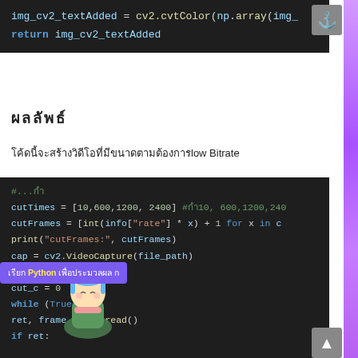[Figure (screenshot): Dark-themed code editor showing Python code: img_cv2_textAdded = cv2.cvtColor(np.array(img_ and return img_cv2_textAdded]
ผลลัพธ์
โค้ดนี้จะสร้างวิดีโอที่มีขนาดตามต้องการlow Bิtrate
[Figure (screenshot): Dark-themed code editor showing Python code with cutTimes, cutFrames, frame_count, cut variables and while True loop with cap.read() and if ret:. Also shows a tooltip label 'เรียก Python เพื่อประมวลผล' and an anime character overlay.]